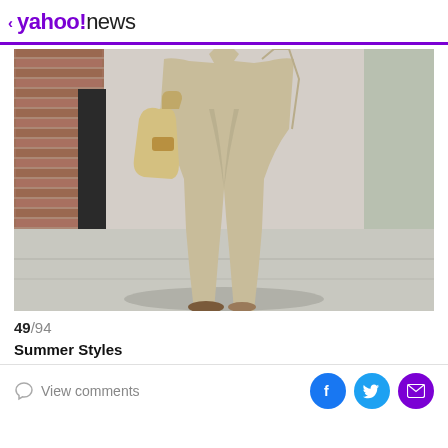< yahoo!news
[Figure (photo): Street style photo showing a person from the waist down, wearing wide-leg flowy beige/tan trousers and a long coat, carrying a tan shoulder bag, walking on a city sidewalk next to a brick building.]
49/94
Summer Styles
View comments